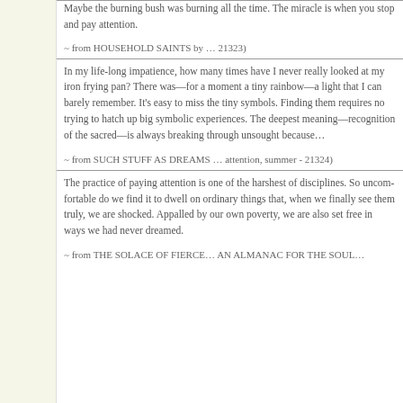Maybe the burning bush was bur... miracle is when you stop and pay...
~ from HOUSEHOLD SAINTS by... 21323)
In my life-long impatience, how m... really looked at my iron frying pa... moment a tiny rainbow—a light th... easy to miss the tiny symbols. Fi... trying to hatch up big symbolic ex... meaning—recognition of the sacr... breaking through unsought beca...
~ from SUCH STUFF AS DREAM... attention, summer - 21324)
The practice of paying attention is... harshest of disciplines. So uncom... ordinary things that, when we fina... Appalled by our own poverty, we... never dreamed.
~ from THE SOLACE OF FIERC... AN ALMANAC FOR THE SOUL...